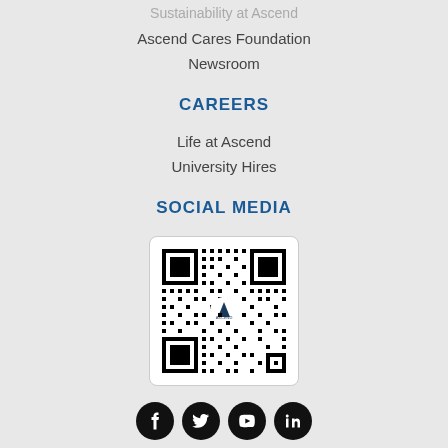Sustainability at Ascend
Ascend Cares Foundation
Newsroom
CAREERS
Life at Ascend
University Hires
SOCIAL MEDIA
[Figure (other): QR code with Ascend logo in center]
[Figure (other): Social media icons: Facebook, Twitter, YouTube, LinkedIn]